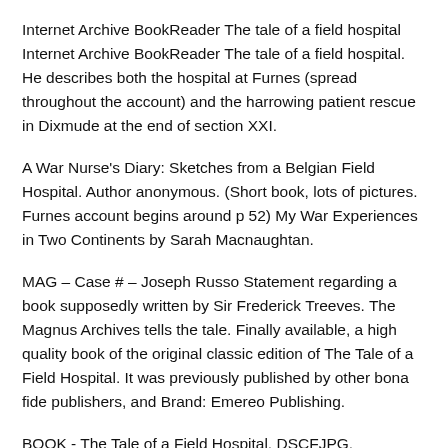Internet Archive BookReader The tale of a field hospital Internet Archive BookReader The tale of a field hospital. He describes both the hospital at Furnes (spread throughout the account) and the harrowing patient rescue in Dixmude at the end of section XXI.
A War Nurse's Diary: Sketches from a Belgian Field Hospital. Author anonymous. (Short book, lots of pictures. Furnes account begins around p 52) My War Experiences in Two Continents by Sarah Macnaughtan.
MAG – Case # – Joseph Russo Statement regarding a book supposedly written by Sir Frederick Treeves. The Magnus Archives tells the tale. Finally available, a high quality book of the original classic edition of The Tale of a Field Hospital. It was previously published by other bona fide publishers, and Brand: Emereo Publishing.
BOOK - The Tale of a Field Hospital. DSCFJPG. DSCFJPG From the Collection of Bendigo Soldiers Memorial Institute Military Museum 37 - 39 Pall Mall Bendigo Victoria Description Dark green paper, soft cover